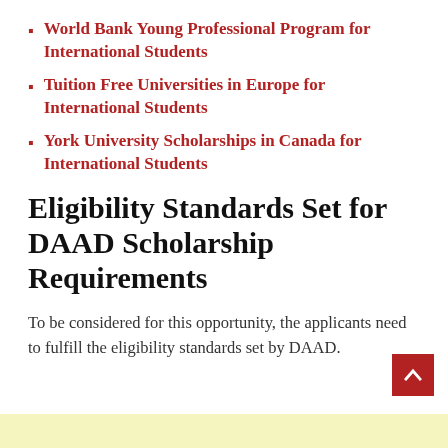World Bank Young Professional Program for International Students
Tuition Free Universities in Europe for International Students
York University Scholarships in Canada for International Students
Eligibility Standards Set for DAAD Scholarship Requirements
To be considered for this opportunity, the applicants need to fulfill the eligibility standards set by DAAD.